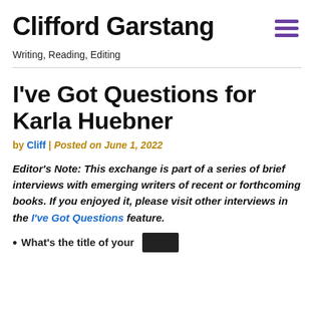Clifford Garstang
Writing, Reading, Editing
I've Got Questions for Karla Huebner
by Cliff | Posted on June 1, 2022
Editor's Note: This exchange is part of a series of brief interviews with emerging writers of recent or forthcoming books. If you enjoyed it, please visit other interviews in the I've Got Questions feature.
What's the title of your